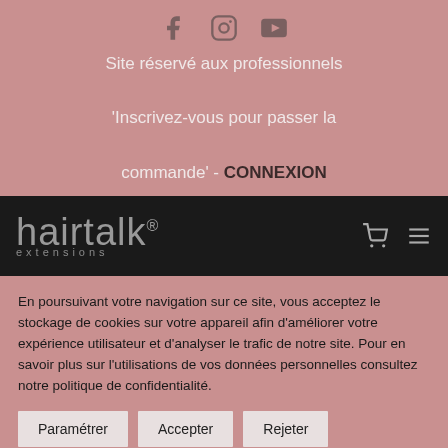[Figure (illustration): Social media icons: Facebook, Instagram, YouTube]
Site réservé aux professionnels
'Inscrivez-vous pour passer la commande' - CONNEXION
[Figure (logo): Hairtalk extensions logo on black navigation bar with cart and menu icons]
En poursuivant votre navigation sur ce site, vous acceptez le stockage de cookies sur votre appareil afin d'améliorer votre expérience utilisateur et d'analyser le trafic de notre site. Pour en savoir plus sur l'utilisations de vos données personnelles consultez notre politique de confidentialité.
Paramétrer
Accepter
Rejeter